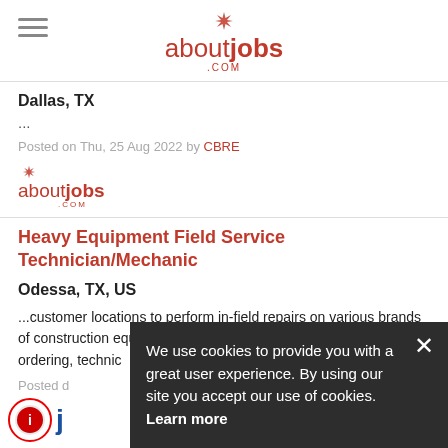aboutjobs.com
Dallas, TX
...
Posted on Thu, 25 Aug 2022 by CBRE
[Figure (logo): aboutjobs.com logo (small version)]
Heavy Equipment Field Service Technician/Mechanic
Odessa, TX, US
...customer locations to perform in-field repairs on various brands of construction equipment. This will include diagnosing, parts ordering, technic...
Posted d...
We use cookies to provide you with a great user experience. By using our site you accept our use of cookies. Learn more